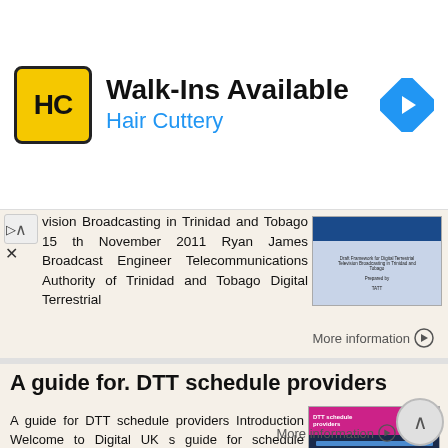[Figure (other): Hair Cuttery advertisement banner with logo, Walk-Ins Available text, and navigation arrow icon]
vision Broadcasting in Trinidad and Tobago 15 th November 2011 Ryan James Broadcast Engineer Telecommunications Authority of Trinidad and Tobago Digital Terrestrial
More information →
A guide for. DTT schedule providers
A guide for DTT schedule providers Introduction Welcome to Digital UK s guide for schedule providers on digital terrestrial television (DTT). Here you can find details of the steps you ll need to consider
More information →